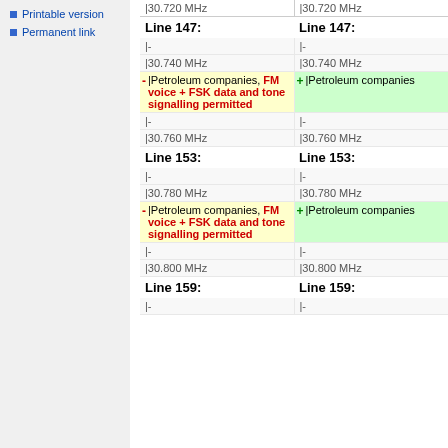Printable version
Permanent link
| Line 147: | Line 147: |
| --- | --- |
| |- | |- |
| |30.740 MHz | |30.740 MHz |
| - |Petroleum companies, FM voice + FSK data and tone signalling permitted | + |Petroleum companies |
| |- | |- |
| |30.760 MHz | |30.760 MHz |
| Line 153: | Line 153: |
| --- | --- |
| |- | |- |
| |30.780 MHz | |30.780 MHz |
| - |Petroleum companies, FM voice + FSK data and tone signalling permitted | + |Petroleum companies |
| |- | |- |
| |30.800 MHz | |30.800 MHz |
| Line 159: | Line 159: |
| --- | --- |
| |- | |- |